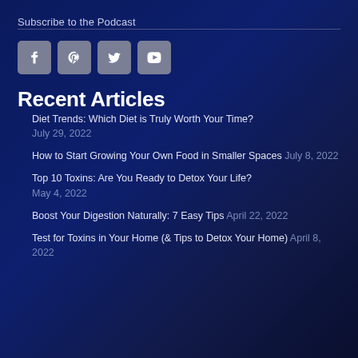Subscribe to the Podcast
[Figure (infographic): Four social media icon buttons: Facebook, Pinterest, Twitter, YouTube — gray rounded square buttons with white icons]
Recent Articles
Diet Trends: Which Diet is Truly Worth Your Time? July 29, 2022
How to Start Growing Your Own Food in Smaller Spaces July 8, 2022
Top 10 Toxins: Are You Ready to Detox Your Life? May 4, 2022
Boost Your Digestion Naturally: 7 Easy Tips April 22, 2022
Test for Toxins in Your Home (& Tips to Detox Your Home) April 8, 2022